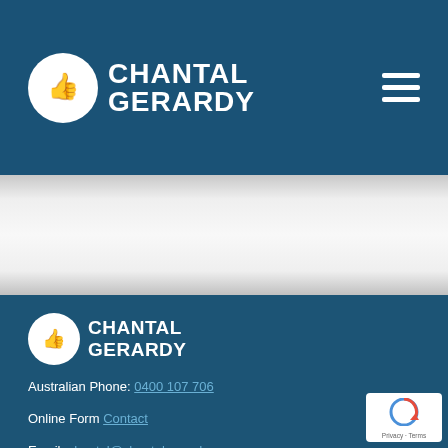[Figure (logo): Chantal Gerardy logo with thumbs-up icon in white circle and text CHANTAL GERARDY in white, plus hamburger menu icon on right]
[Figure (illustration): Light grey/white middle section background area]
[Figure (logo): Chantal Gerardy footer logo - smaller version with thumbs-up icon and CHANTAL GERARDY text in white]
Australian Phone: 0400 107 706
Online Form Contact
Email: chantal@chantalgerardy.com.au
Facebook: Chantal Gerardy